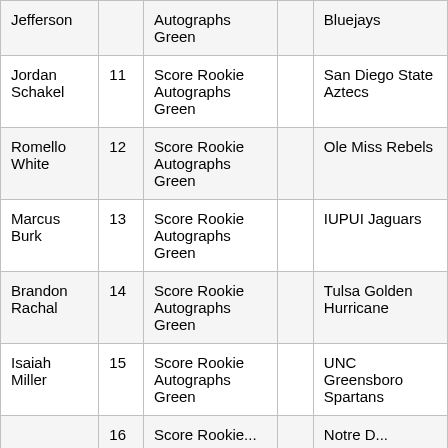| Jefferson |  | Autographs Green |  | Bluejays |
| Jordan Schakel | 11 | Score Rookie Autographs Green |  | San Diego State Aztecs |
| Romello White | 12 | Score Rookie Autographs Green |  | Ole Miss Rebels |
| Marcus Burk | 13 | Score Rookie Autographs Green |  | IUPUI Jaguars |
| Brandon Rachal | 14 | Score Rookie Autographs Green |  | Tulsa Golden Hurricane |
| Isaiah Miller | 15 | Score Rookie Autographs Green |  | UNC Greensboro Spartans |
| ... | 16 | Score Rookie... |  | Notre D... |